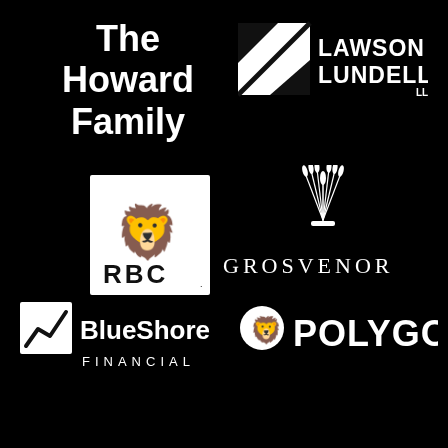[Figure (logo): The Howard Family text logo in white bold serif on black background]
[Figure (logo): Lawson Lundell LLP logo in white on black background with geometric square icon]
[Figure (logo): RBC Royal Bank of Canada logo in white on black background with lion and globe emblem in white square]
[Figure (logo): Grosvenor logo in white on black background with wheat sheaf emblem above the text]
[Figure (logo): BlueShore Financial logo in white on black background with chart icon in white square]
[Figure (logo): Polygon logo in white on black background with lion crest emblem]